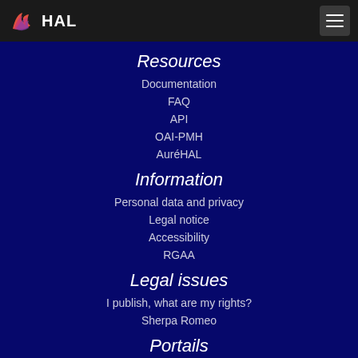HAL
Resources
Documentation
FAQ
API
OAI-PMH
AuréHAL
Information
Personal data and privacy
Legal notice
Accessibility
RGAA
Legal issues
I publish, what are my rights?
Sherpa Romeo
Portails